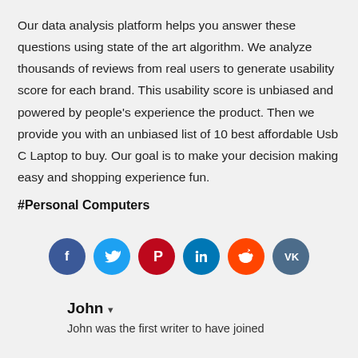Our data analysis platform helps you answer these questions using state of the art algorithm. We analyze thousands of reviews from real users to generate usability score for each brand. This usability score is unbiased and powered by people's experience the product. Then we provide you with an unbiased list of 10 best affordable Usb C Laptop to buy. Our goal is to make your decision making easy and shopping experience fun.
#Personal Computers
[Figure (infographic): Row of six social media share buttons as colored circles: Facebook (dark blue), Twitter (light blue), Pinterest (red), LinkedIn (teal blue), Reddit (orange-red), VK (slate blue)]
John ▾
John was the first writer to have joined